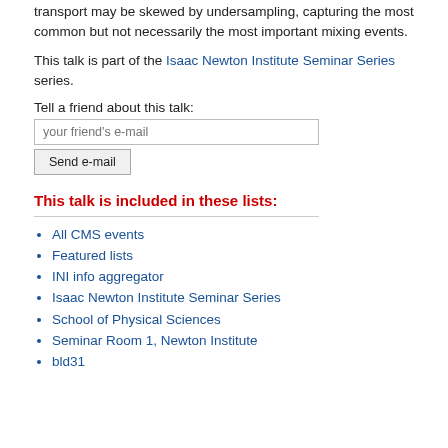transport may be skewed by undersampling, capturing the most common but not necessarily the most important mixing events.
This talk is part of the Isaac Newton Institute Seminar Series series.
Tell a friend about this talk:
This talk is included in these lists:
All CMS events
Featured lists
INI info aggregator
Isaac Newton Institute Seminar Series
School of Physical Sciences
Seminar Room 1, Newton Institute
bld31